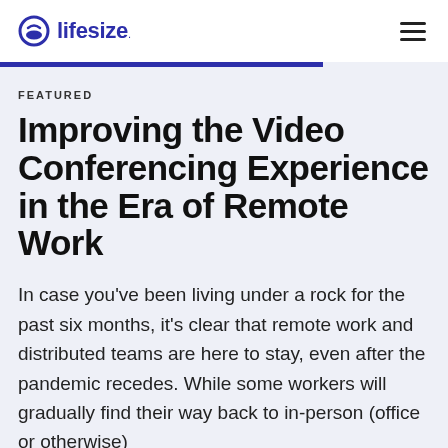lifesize
FEATURED
Improving the Video Conferencing Experience in the Era of Remote Work
In case you’ve been living under a rock for the past six months, it’s clear that remote work and distributed teams are here to stay, even after the pandemic recedes. While some workers will gradually find their way back to in-person (office or otherwise)